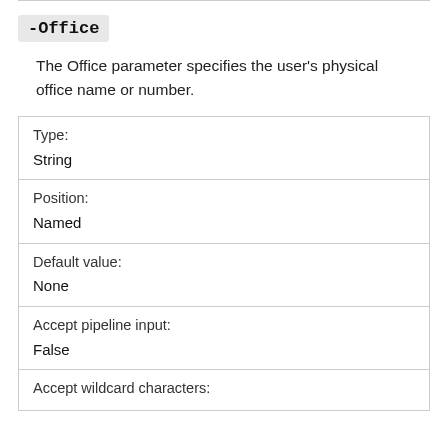-Office
The Office parameter specifies the user's physical office name or number.
| Type: | String |
| Position: | Named |
| Default value: | None |
| Accept pipeline input: | False |
| Accept wildcard characters: |  |